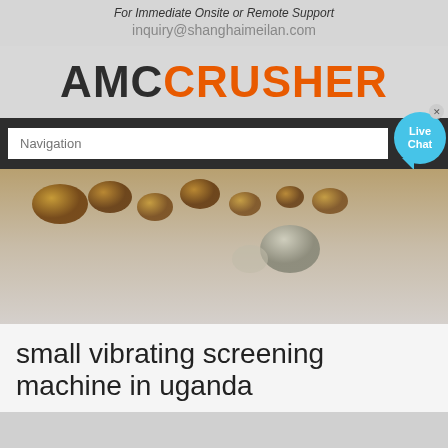For Immediate Onsite or Remote Support
inquiry@shanghaimeilan.com
AMCCRUSHER
[Figure (screenshot): Navigation search bar with placeholder text 'Navigation' on dark background, with Live Chat bubble in top right corner]
[Figure (photo): Hero image showing rocks and minerals on a grey/brown surface]
small vibrating screening machine in uganda